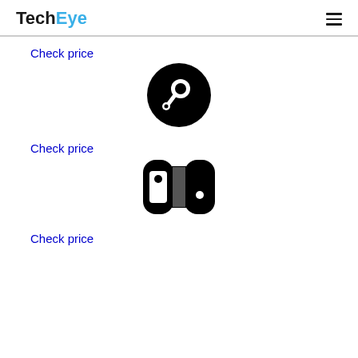TechEye
Check price
[Figure (logo): Steam logo - black circle with steam controller icon]
Check price
[Figure (logo): Nintendo Switch logo icon - black and white controller halves]
Check price